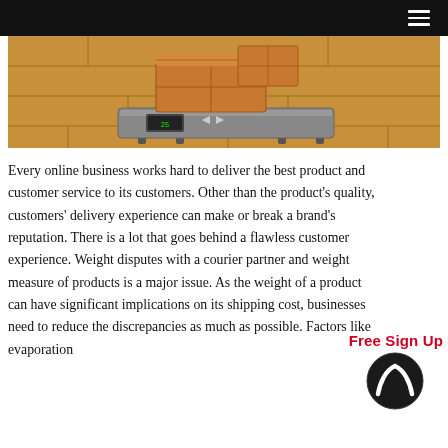[Figure (photo): A flat platform weighing scale with cardboard boxes on top, placed on a wooden floor background]
Every online business works hard to deliver the best product and customer service to its customers. Other than the product's quality, customers' delivery experience can make or break a brand's reputation. There is a lot that goes behind a flawless customer experience. Weight disputes with a courier partner and weight measure of products is a major issue. As the weight of a product can have significant implications on its shipping cost, businesses need to reduce the discrepancies as much as possible. Factors like evaporation
Free Sign Up
[Figure (logo): Black circular logo with a stylized white N shape inside]